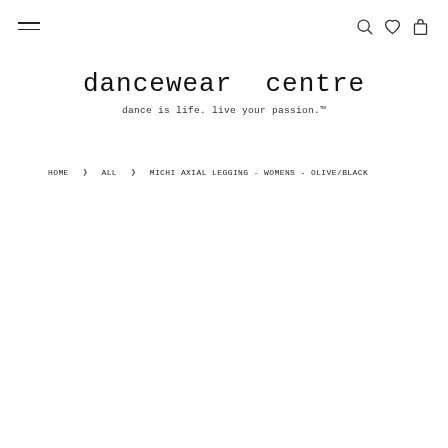≡   🔍 ♡ 🛍
dancewear centre
dance is life. live your passion.™
HOME > ALL > MICHI AXIAL LEGGING - WOMENS - OLIVE/BLACK